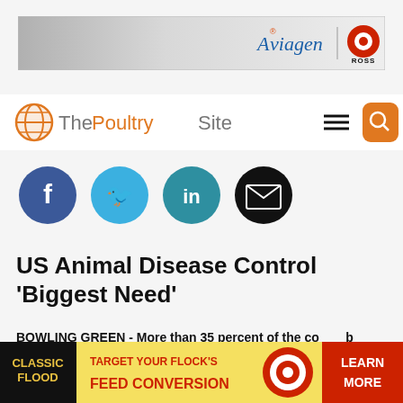[Figure (logo): Aviagen Ross advertisement banner at top of page]
[Figure (logo): The Poultry Site navigation bar with globe logo, hamburger menu, and search button]
[Figure (infographic): Social sharing icons row: Facebook, Twitter, LinkedIn, Email]
US Animal Disease Control 'Biggest Need'
BOWLING GREEN - More than 35 percent of the countries surveyed believe that the US needs better developed countries regarding animal traceability systems
[Figure (infographic): Advertisement banner: Classic Flood - Target Your Flock's Feed Conversion - Learn More]